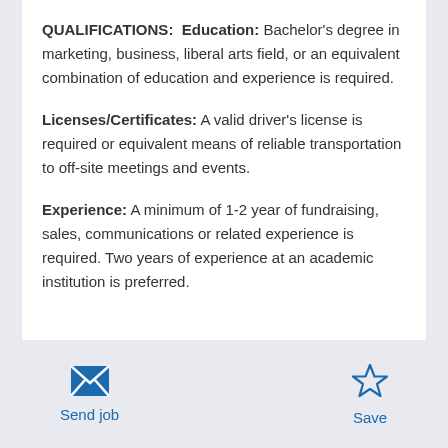QUALIFICATIONS:  Education: Bachelor's degree in marketing, business, liberal arts field, or an equivalent combination of education and experience is required.
Licenses/Certificates: A valid driver's license is required or equivalent means of reliable transportation to off-site meetings and events.
Experience: A minimum of 1-2 year of fundraising, sales, communications or related experience is required. Two years of experience at an academic institution is preferred.
[Figure (other): Envelope icon for Send job action]
Send job
[Figure (other): Star icon for Save action]
Save